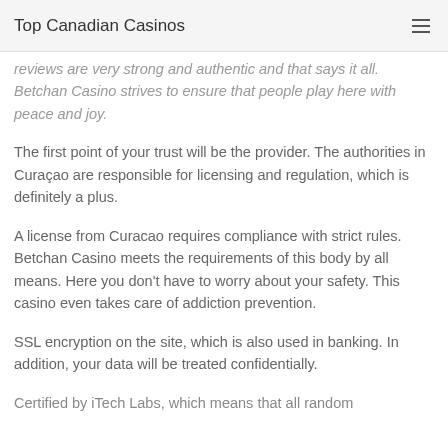Top Canadian Casinos
reviews are very strong and authentic and that says it all. Betchan Casino strives to ensure that people play here with peace and joy.
The first point of your trust will be the provider. The authorities in Curaçao are responsible for licensing and regulation, which is definitely a plus.
A license from Curacao requires compliance with strict rules. Betchan Casino meets the requirements of this body by all means. Here you don't have to worry about your safety. This casino even takes care of addiction prevention.
SSL encryption on the site, which is also used in banking. In addition, your data will be treated confidentially.
Certified by iTech Labs, which means that all random